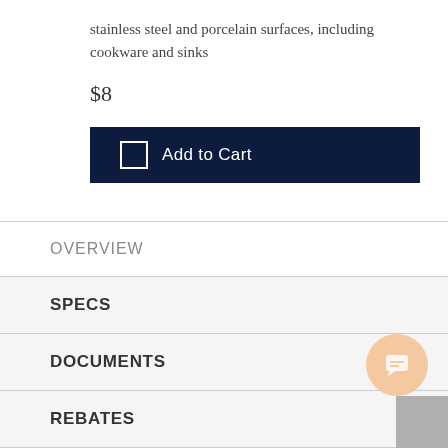stainless steel and porcelain surfaces, including cookware and sinks
$8
[Figure (other): Add to Cart button with checkbox icon on dark navy background]
OVERVIEW
SPECS
DOCUMENTS
REBATES